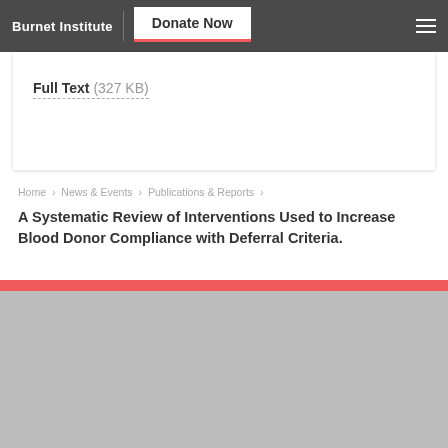Burnet Institute | Donate Now
Full Text (327 KB)
Home › News & Events › Publications & Reports ›
A Systematic Review of Interventions Used to Increase Blood Donor Compliance with Deferral Criteria.
[Figure (other): Gray placeholder image area below a red horizontal bar, representing a partially loaded or blocked image/content area]